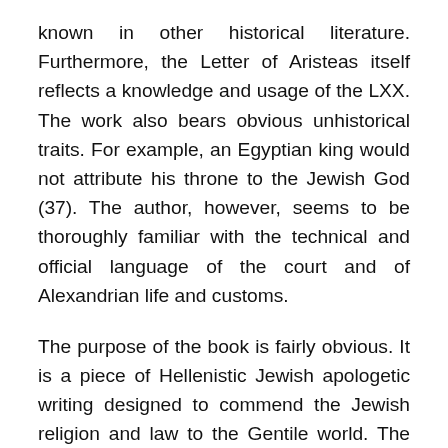known in other historical literature. Furthermore, the Letter of Aristeas itself reflects a knowledge and usage of the LXX. The work also bears obvious unhistorical traits. For example, an Egyptian king would not attribute his throne to the Jewish God (37). The author, however, seems to be thoroughly familiar with the technical and official language of the court and of Alexandrian life and customs.
The purpose of the book is fairly obvious. It is a piece of Hellenistic Jewish apologetic writing designed to commend the Jewish religion and law to the Gentile world. The book emphasizes the honors showered on the seventy by the Greek king. High praise is accorded to Jewish wisdom by heathen philosophers. It explains